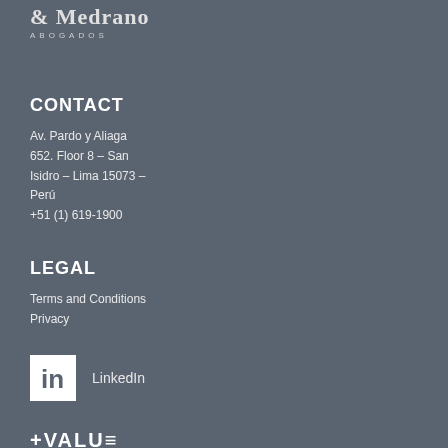& Medrano ABOGADOS
CONTACT
Av. Pardo y Aliaga 652. Floor 8 – San Isidro – Lima 15073 – Perú
+51 (1) 619-1900
LEGAL
Terms and Conditions
Privacy
[Figure (logo): LinkedIn logo icon with 'in' text on white square background, followed by text 'LinkedIn']
[Figure (logo): +VALUE PRECIOS DE TRANSFERENCIA logo]